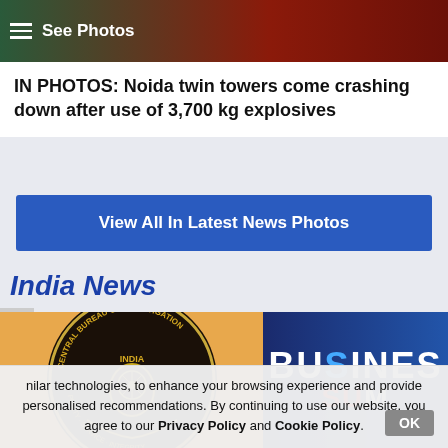[Figure (photo): Top navigation bar with hamburger menu and See Photos text over nature photo background]
IN PHOTOS: Noida twin towers come crashing down after use of 3,700 kg explosives
View All In Latest News Photos
India News
[Figure (photo): CBI (Central Bureau of Investigation) India emblem/logo on orange background]
[Figure (photo): Business summit photo with BUSINESS text overlay]
nilar technologies, to enhance your browsing experience and provide personalised recommendations. By continuing to use our website, you agree to our Privacy Policy and Cookie Policy.